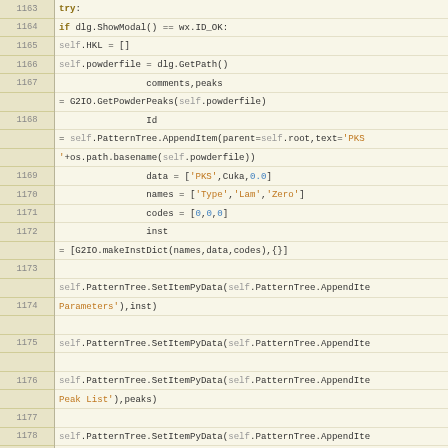[Figure (screenshot): Python source code editor view showing lines 1163-1184 with line numbers, syntax highlighting including keywords in bold orange/brown, strings in orange, numbers in blue, self references in gray, comments in gray italic, and function names in red/orange.]